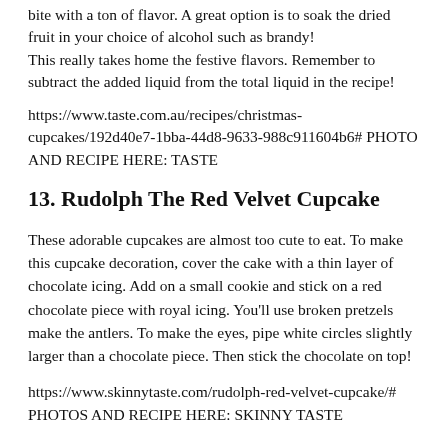bite with a ton of flavor. A great option is to soak the dried fruit in your choice of alcohol such as brandy! This really takes home the festive flavors. Remember to subtract the added liquid from the total liquid in the recipe!
https://www.taste.com.au/recipes/christmas-cupcakes/192d40e7-1bba-44d8-9633-988c911604b6# PHOTO AND RECIPE HERE: TASTE
13. Rudolph The Red Velvet Cupcake
These adorable cupcakes are almost too cute to eat. To make this cupcake decoration, cover the cake with a thin layer of chocolate icing. Add on a small cookie and stick on a red chocolate piece with royal icing. You'll use broken pretzels make the antlers. To make the eyes, pipe white circles slightly larger than a chocolate piece. Then stick the chocolate on top!
https://www.skinnytaste.com/rudolph-red-velvet-cupcake/# PHOTOS AND RECIPE HERE: SKINNY TASTE